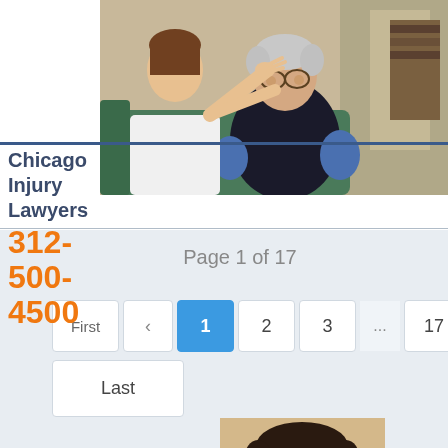[Figure (photo): Photo showing a caregiver or nurse pointing aggressively at an elderly man seated in a chair, suggesting a scene of elder abuse or nursing home neglect.]
Chicago Injury Lawyers
312-500-4500
Page 1 of 17
First < 1 2 3 ... 17 >
Last
[Figure (photo): Partial photo showing the top of a person's head with dark hair, possibly a lawyer or staff member portrait.]